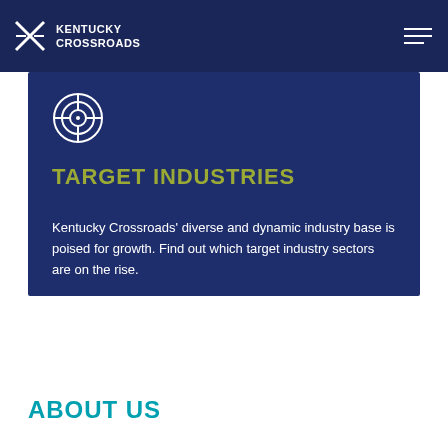KENTUCKY CROSSROADS
[Figure (logo): Target/crosshair icon in white circle outline]
TARGET INDUSTRIES
Kentucky Crossroads' diverse and dynamic industry base is poised for growth. Find out which target industry sectors are on the rise.
[Figure (illustration): Olive/green circular arrow button with right-pointing chevron]
ABOUT US